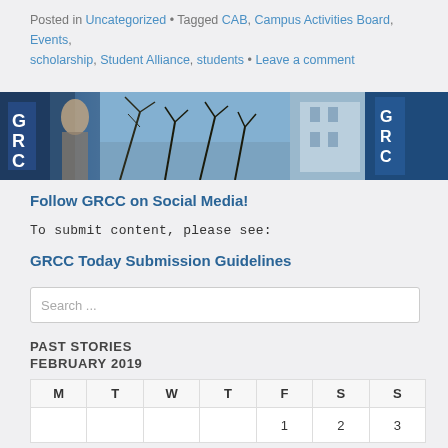Posted in Uncategorized • Tagged CAB, Campus Activities Board, Events, scholarship, Student Alliance, students • Leave a comment
[Figure (photo): Banner photo of GRCC campus with trees and building signage]
Follow GRCC on Social Media!
To submit content, please see:
GRCC Today Submission Guidelines
Search ...
PAST STORIES
FEBRUARY 2019
| M | T | W | T | F | S | S |
| --- | --- | --- | --- | --- | --- | --- |
|  |  |  |  | 1 | 2 | 3 |